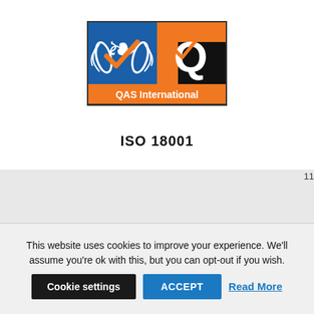[Figure (logo): QAS International ISO 18001 certification logo - blue background with white laurel wreath and orange checkmark on left, orange background with Q checkmark logo on right, orange banner reading QAS International below]
ISO 18001
– Accreditation
11
[Figure (logo): Smaller QAS International logo partially visible]
This website uses cookies to improve your experience. We'll assume you're ok with this, but you can opt-out if you wish.
Cookie settings
ACCEPT
Read More